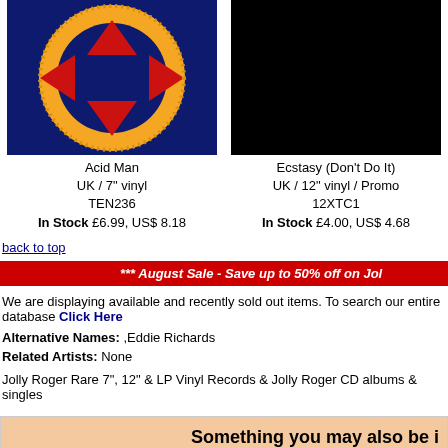[Figure (photo): Album cover for Acid Man – circular logo with gold border on dark blue background with red geometric shapes]
Acid Man
UK / 7" vinyl
TEN236
In Stock £6.99, US$ 8.18
[Figure (photo): Black image – album cover for Ecstasy (Don't Do It)]
Ecstasy (Don't Do It)
UK / 12" vinyl / Promo
12XTC1
In Stock £4.00, US$ 4.68
back to top
*** August Sale - Save up to 50% off on Jolly Roger
We are displaying available and recently sold out items. To search our entire database Click Here
Alternative Names: ,Eddie Richards
Related Artists: None
Jolly Roger Rare 7", 12" & LP Vinyl Records & Jolly Roger CD albums & singles
Something you may also be i
Art Vinyl Play & Display Black Album/12" Frame – Pack Of 3
Art Vinyl Play & Display Bla Album/12" Frame – Pack C